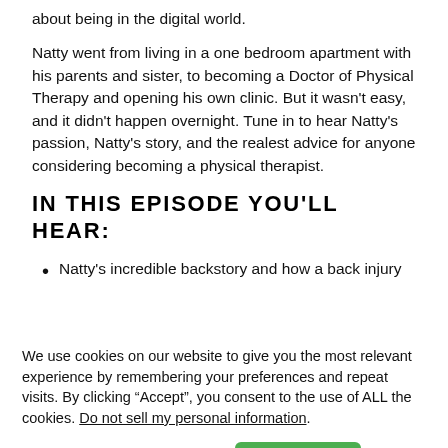about being in the digital world.
Natty went from living in a one bedroom apartment with his parents and sister, to becoming a Doctor of Physical Therapy and opening his own clinic. But it wasn't easy, and it didn't happen overnight. Tune in to hear Natty's passion, Natty's story, and the realest advice for anyone considering becoming a physical therapist.
IN THIS EPISODE YOU'LL HEAR:
Natty's incredible backstory and how a back injury
We use cookies on our website to give you the most relevant experience by remembering your preferences and repeat visits. By clicking “Accept”, you consent to the use of ALL the cookies. Do not sell my personal information.